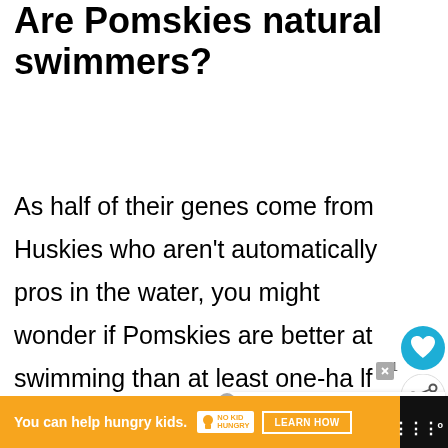Are Pomskies natural swimmers?
As half of their genes come from Huskies who aren't automatically pros in the water, you might wonder if Pomskies are better at swimming than at least one-half of their parents.
[Figure (screenshot): UI overlay elements: heart/favorite button (blue circle with heart icon), share button (white circle with share icon), count badge '1', 'WHAT'S NEXT' panel with husky thumbnail and text 'How Big Do Pomskies...'']
[Figure (screenshot): Advertisement banner with dark maroon background showing partial text/logo]
[Figure (screenshot): Orange bottom ad bar: 'You can help hungry kids. NO KID HUNGRY [LEARN HOW]' with close X button and WM logo on black bar]